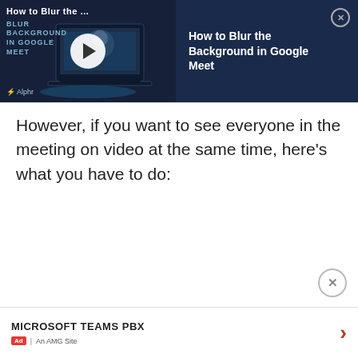[Figure (screenshot): Video thumbnail showing a laptop with Google Meet interface on a dark navy background, with a white play button in the center and 'Blur Background in Google Meet' text overlay and Alphr logo at bottom left]
How to Blur the Background in Google Meet
However, if you want to see everyone in the meeting on video at the same time, here’s what you have to do:
[Figure (other): Close (X) button circle at bottom right]
MICROSOFT TEAMS PBX
Ad | An AMG Site